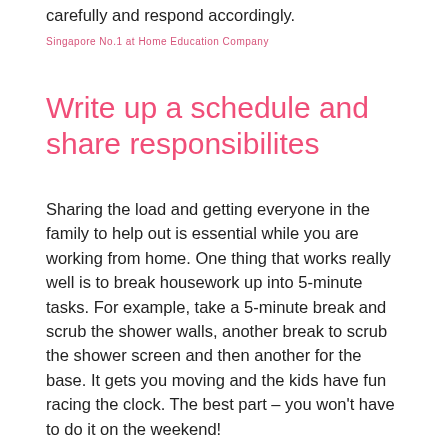carefully and respond accordingly.
Write up a schedule and share responsibilites
Sharing the load and getting everyone in the family to help out is essential while you are working from home. One thing that works really well is to break housework up into 5-minute tasks. For example, take a 5-minute break and scrub the shower walls, another break to scrub the shower screen and then another for the base. It gets you moving and the kids have fun racing the clock. The best part – you won't have to do it on the weekend!
Having a schedule will keep you on track and help